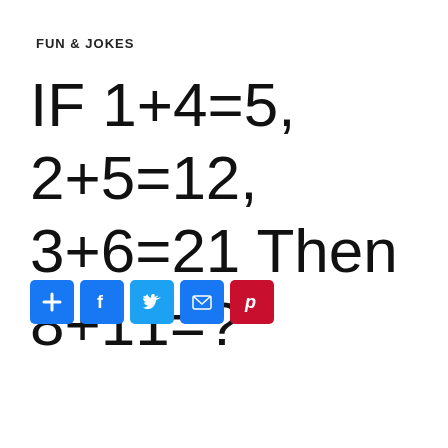FUN & JOKES
IF 1+4=5, 2+5=12, 3+6=21 Then 8+11=?
[Figure (infographic): Row of 5 social share buttons: Add (+), Facebook (f), Twitter (bird), Email (envelope), Pinterest (P) icons]